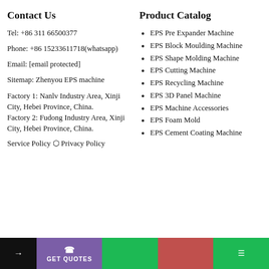Contact Us
Tel: +86 311 66500377
Phone: +86 15233611718(whatsapp)
Email: [email protected]
Sitemap: Zhenyou EPS machine
Factory 1: Nanlv Industry Area, Xinji City, Hebei Province, China.
Factory 2: Fudong Industry Area, Xinji City, Hebei Province, China.
Service Policy ⬡ Privacy Policy
Product Catalog
EPS Pre Expander Machine
EPS Block Moulding Machine
EPS Shape Molding Machine
EPS Cutting Machine
EPS Recycling Machine
EPS 3D Panel Machine
EPS Machine Accessories
EPS Foam Mold
EPS Cement Coating Machine